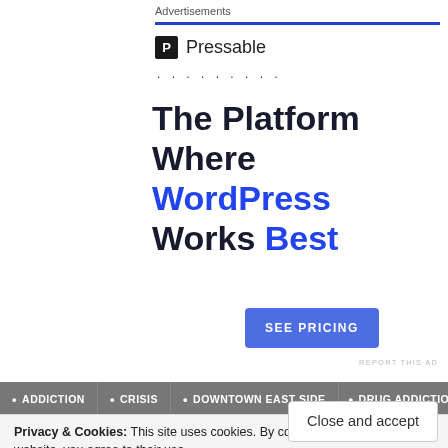Advertisements
[Figure (logo): Pressable logo with blue P icon and brand name]
. . . . . . . . .
The Platform Where WordPress Works Best
SEE PRICING
REPORT THIS AD
ADDICTION
CRISIS
DOWNTOWN EAST SIDE
DRUG ADDICTION
Privacy & Cookies: This site uses cookies. By continuing to use this website, you agree to their use. To find out more, including how to control cookies, see here: Cookie Policy
Close and accept